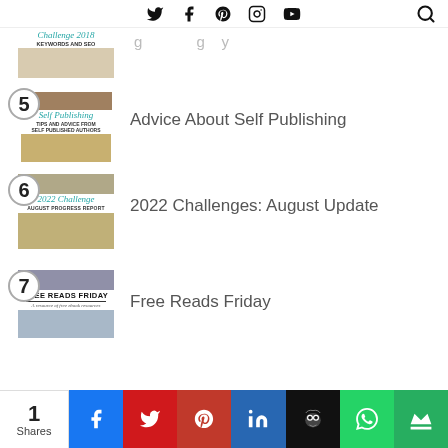Navigation bar with social icons: Twitter, Facebook, Pinterest, Instagram, YouTube, and Search
[Figure (illustration): Partial thumbnail for item 4 - Challenge 2018, Keywords and SEO blog post thumbnail]
Advice About Self Publishing
[Figure (illustration): Item 5 thumbnail - Self Publishing Tips and Advice from Self Published Authors]
2022 Challenges: August Update
[Figure (illustration): Item 6 thumbnail - 2022 Challenge August Progress Report]
Free Reads Friday
[Figure (illustration): Item 7 thumbnail - Free Reads Friday]
1 Shares | Share buttons: Facebook, Twitter, Pinterest, LinkedIn, Owlly, WhatsApp, Crown